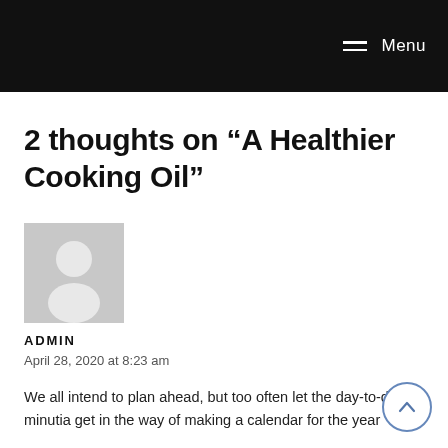Menu
2 thoughts on “A Healthier Cooking Oil”
[Figure (illustration): Generic user avatar: grey square with white silhouette of a person (head circle and shoulders)]
ADMIN
April 28, 2020 at 8:23 am
We all intend to plan ahead, but too often let the day-to-day minutia get in the way of making a calendar for the year